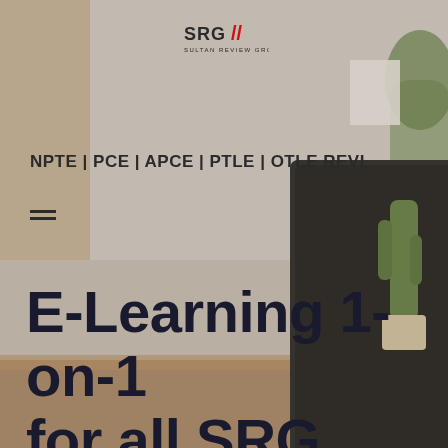[Figure (photo): Background photo of a laptop, cactus plant, and desk scene. Dark laptop screen on right, green cactus in center, wooden desk surface, neutral wall in background. SRG Sultan Review Group logo centered at top.]
SRG // SULTAN REVIEW GROUP
NPTE | PCE | APCE | PTLE | OTLE REVI
E-Learning 1-on-1 for all SRG review services